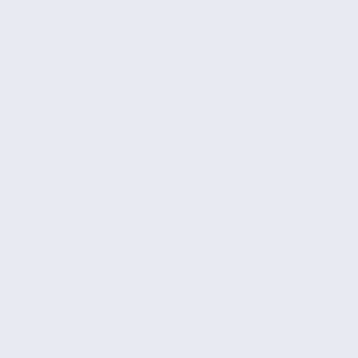April 2013
April 2013
March 201...
March 201...
March 201...
March 201...
February ...
February ...
February ...
February ...
January 2...
January 2...
January 2...
December...
December...
December...
November...
November...
November...
November...
October 2...
October 2...
October 2...
October 2...
October 2...
Septembe...
Septembe...
Septembe...
Septembe...
August 20...
August 20...
August 20...
August 20...